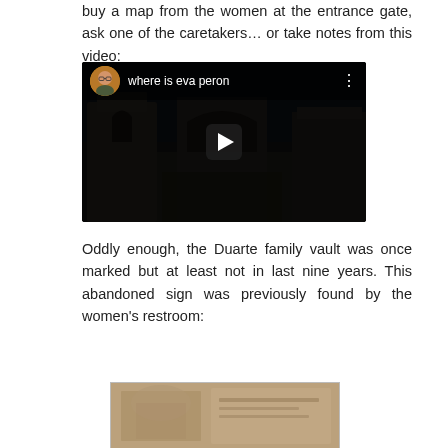buy a map from the women at the entrance gate, ask one of the caretakers… or take notes from this video:
[Figure (screenshot): YouTube video embed showing a dark cemetery walkway scene with the title 'where is eva peron', a circular avatar of a man with glasses, and a play button.]
Oddly enough, the Duarte family vault was once marked but at least not in last nine years. This abandoned sign was previously found by the women's restroom:
[Figure (photo): A photograph inside a bordered frame showing a stone or marble sign/plaque related to the Duarte family, partially visible at the bottom of the page.]